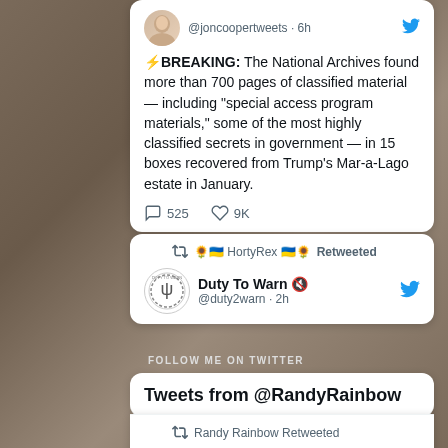[Figure (screenshot): Twitter/X screenshot showing a tweet from @joncoopertweets about National Archives finding classified materials, engagement metrics (525 comments, 9K likes), a retweet from HortyRex of Duty To Warn @duty2warn, a 'Follow Me on Twitter' section label, a 'Tweets from @RandyRainbow' card, and a Randy Rainbow Retweet showing Todd Milliner.]